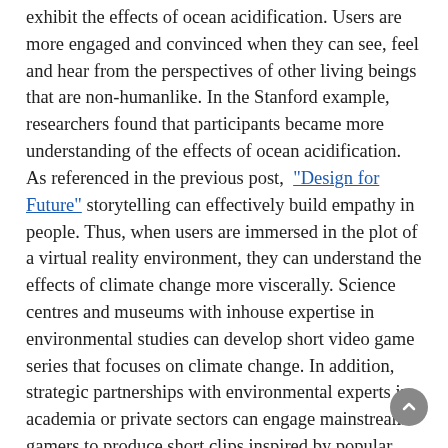exhibit the effects of ocean acidification. Users are more engaged and convinced when they can see, feel and hear from the perspectives of other living beings that are non-humanlike. In the Stanford example, researchers found that participants became more understanding of the effects of ocean acidification. As referenced in the previous post, "Design for Future" storytelling can effectively build empathy in people. Thus, when users are immersed in the plot of a virtual reality environment, they can understand the effects of climate change more viscerally. Science centres and museums with inhouse expertise in environmental studies can develop short video game series that focuses on climate change. In addition, strategic partnerships with environmental experts in academia or private sectors can engage mainstream gamers to produce short clips inspired by popular games and movies such as Angry Birds 2 or Our Planet. We realize these initiatives require a